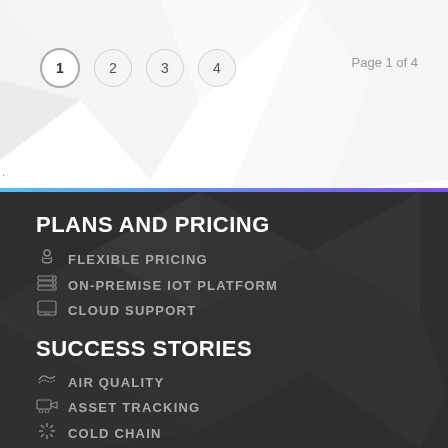Page 1 of 4
1  2  3  4
PLANS AND PRICING
FLEXIBLE PRICING
ON-PREMISE IoT PLATFORM
CLOUD SUPPORT
SUCCESS STORIES
AIR QUALITY
ASSET TRACKING
COLD CHAIN